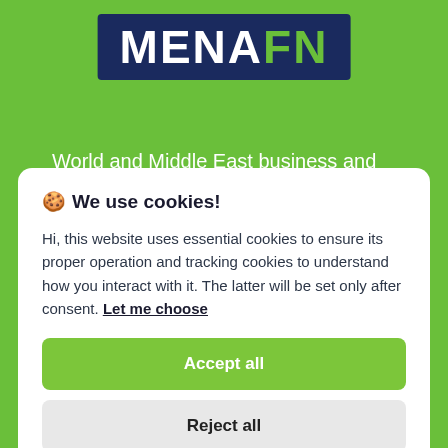[Figure (logo): MENAFN logo: dark navy blue rectangle with white text MENA and green text FN]
World and Middle East business and financial news, Stocks, Currencies, Market Data, Research, Weather and other data.
🍪 We use cookies!
Hi, this website uses essential cookies to ensure its proper operation and tracking cookies to understand how you interact with it. The latter will be set only after consent. Let me choose
Accept all
Reject all